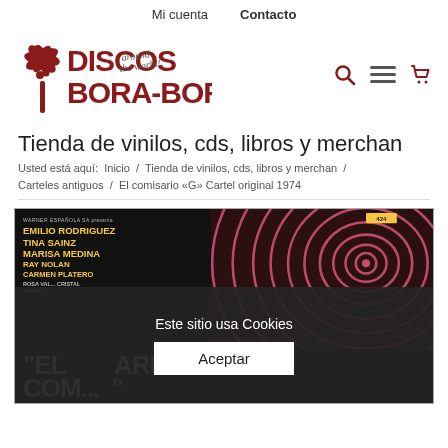Mi cuenta   Contacto
[Figure (logo): Discos Bora-Bora logo with palm trees and 'around the world!' text]
Tienda de vinilos, cds, libros y merchan
Usted está aquí:  Inicio  /  Tienda de vinilos, cds, libros y merchan  /  Carteles antiguos  /  El comisario «G» Cartel original 1974
[Figure (photo): Movie poster for 'El Comisario G' (1974) showing cast names (Emilio Rodriguez, Tina Sainz, Marisa Medina, Ray Nolan, Carmen Platero) on a dark background with spiral fingerprint design in red/pink on the right side. A yellow price sticker is visible in the upper right. The title appears at the bottom in large grey letters.]
Este sitio usa Cookies
Aceptar